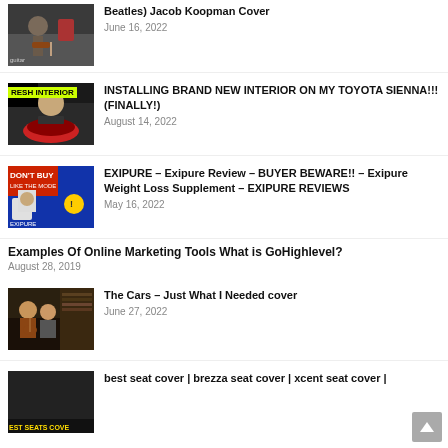Beatles) Jacob Koopman Cover
June 16, 2022
INSTALLING BRAND NEW INTERIOR ON MY TOYOTA SIENNA!!! (FINALLY!)
August 14, 2022
EXIPURE – Exipure Review – BUYER BEWARE!! – Exipure Weight Loss Supplement – EXIPURE REVIEWS
May 16, 2022
Examples Of Online Marketing Tools What is GoHighlevel?
August 28, 2019
The Cars – Just What I Needed cover
June 27, 2022
best seat cover | brezza seat cover | xcent seat cover |